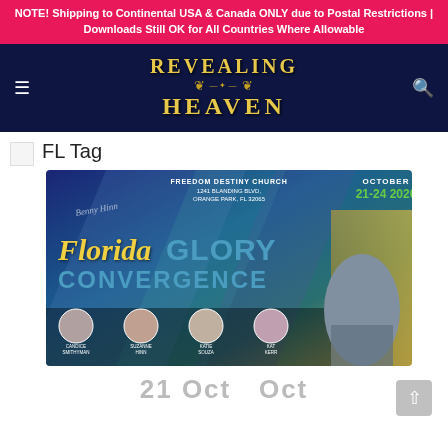NOTE! Shipping to Continental USA & Canada ONLY due to Postal Restrictions | Downloads Still OK for All Countries Where Allowable
[Figure (logo): Revealing Heaven logo with gold stylized text on dark navy background, with hamburger menu icon on left and search icon on right]
FL Tag
[Figure (infographic): Florida Glory Convergence event flyer. Freedom Destiny Church, 1241 Blanding Blvd, Orange Park, FL 32065. October 21-24 2020. Speakers: Candice Smithyman, Suzanne Hinn, Katie Souza, Kat Kerr. BenimGlobal.com]
21 Oct Oct